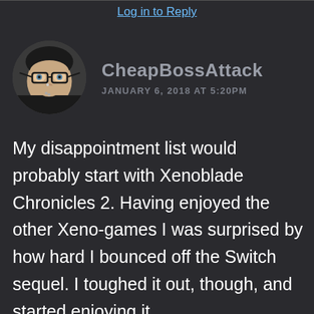Log in to Reply
CheapBossAttack
JANUARY 6, 2018 AT 5:20PM
[Figure (photo): Circular avatar photo of a person wearing glasses with facial piercings, dark background]
My disappointment list would probably start with Xenoblade Chronicles 2. Having enjoyed the other Xeno-games I was surprised by how hard I bounced off the Switch sequel. I toughed it out, though, and started enjoying it